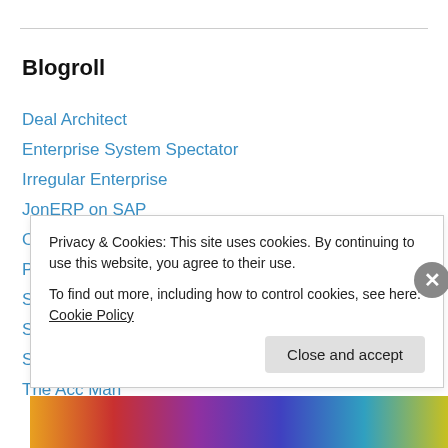Blogroll
Deal Architect
Enterprise System Spectator
Irregular Enterprise
JonERP on SAP
Oliver Marks on the Enterprise
PJ
Software Insider (Ray Wang)
Software Safari
Spend Matters
The Acc Man
Privacy & Cookies: This site uses cookies. By continuing to use this website, you agree to their use.
To find out more, including how to control cookies, see here: Cookie Policy
Close and accept